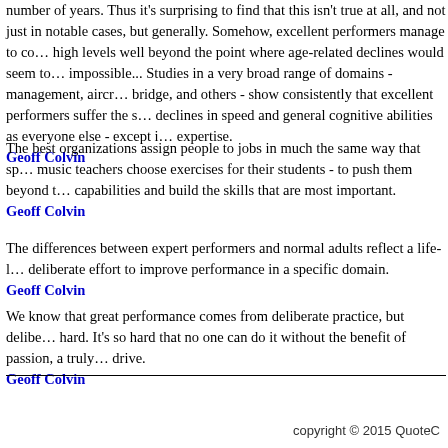number of years. Thus it's surprising to find that this isn't true at all, and not just in notable cases, but generally. Somehow, excellent performers manage to continue at high levels well beyond the point where age-related declines would seem to make it impossible... Studies in a very broad range of domains - management, aircraft piloting, bridge, and others - show consistently that excellent performers suffer the same declines in speed and general cognitive abilities as everyone else - except in their domain of expertise.
Geoff Colvin
The best organizations assign people to jobs in much the same way that sports or music teachers choose exercises for their students - to push them beyond their current capabilities and build the skills that are most important.
Geoff Colvin
The differences between expert performers and normal adults reflect a life-long period of deliberate effort to improve performance in a specific domain.
Geoff Colvin
We know that great performance comes from deliberate practice, but deliberate practice is hard. It's so hard that no one can do it without the benefit of passion, a truly extraordinary drive.
Geoff Colvin
copyright © 2015 QuoteC